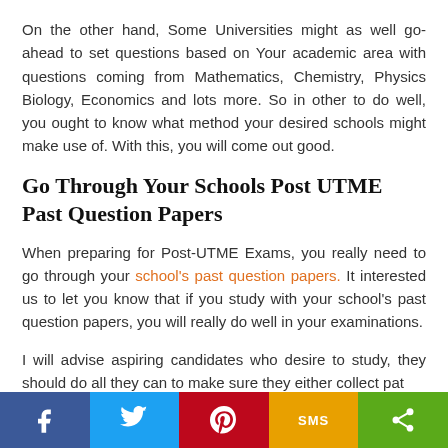On the other hand, Some Universities might as well go-ahead to set questions based on Your academic area with questions coming from Mathematics, Chemistry, Physics Biology, Economics and lots more. So in other to do well, you ought to know what method your desired schools might make use of. With this, you will come out good.
Go Through Your Schools Post UTME Past Question Papers
When preparing for Post-UTME Exams, you really need to go through your school's past question papers. It interested us to let you know that if you study with your school's past question papers, you will really do well in your examinations.
I will advise aspiring candidates who desire to study, they should do all they can to make sure they either collect pat
f  [twitter]  [pinterest]  SMS  [share]